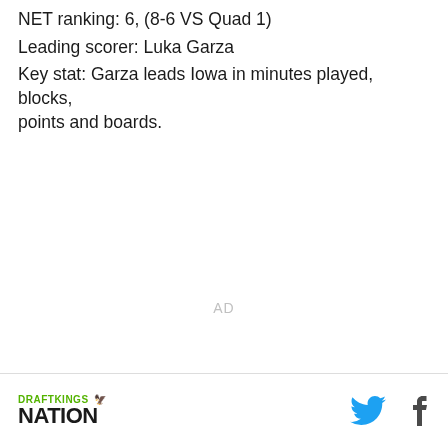NET ranking: 6, (8-6 VS Quad 1)
Leading scorer: Luka Garza
Key stat: Garza leads Iowa in minutes played, blocks, points and boards.
AD
DRAFTKINGS NATION